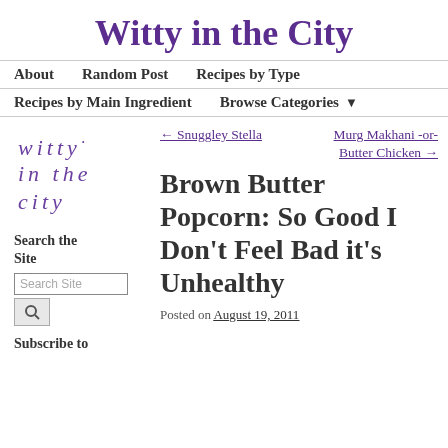Witty in the City
About   Random Post   Recipes by Type
Recipes by Main Ingredient   Browse Categories ▼
[Figure (logo): Witty in the City logo with decorative text in purple]
← Snuggley Stella   Murg Makhani -or- Butter Chicken →
Brown Butter Popcorn: So Good I Don't Feel Bad it's Unhealthy
Posted on August 19, 2011
Search the Site
Subscribe to